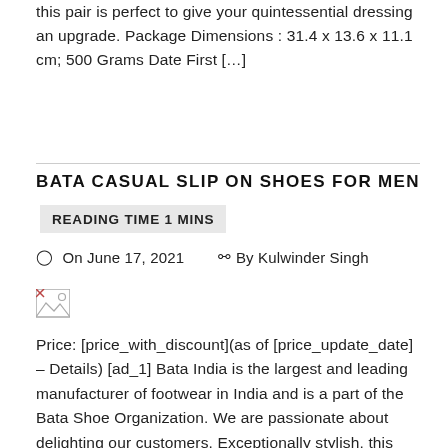this pair is perfect to give your quintessential dressing an upgrade. Package Dimensions : 31.4 x 13.6 x 11.1 cm; 500 Grams Date First […]
BATA CASUAL SLIP ON SHOES FOR MEN
READING TIME 1 MINS
⊙ On June 17, 2021   & By Kulwinder Singh
[Figure (illustration): Broken image placeholder icon]
Price: [price_with_discount](as of [price_update_date] – Details) [ad_1] Bata India is the largest and leading manufacturer of footwear in India and is a part of the Bata Shoe Organization. We are passionate about delighting our customers. Exceptionally stylish, this pair of shoes from the house of Bata features a refined appeal to make the right impression. […]